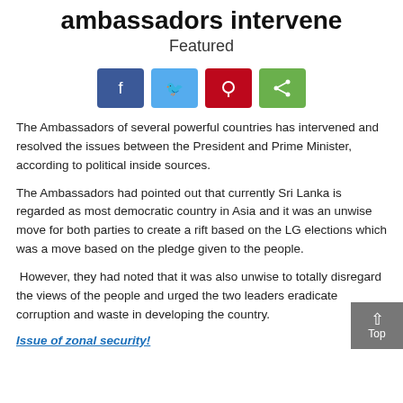ambassadors intervene
Featured
[Figure (infographic): Social share buttons: Facebook (blue), Twitter (light blue), Pinterest (red), Share (green)]
The Ambassadors of several powerful countries has intervened and resolved the issues between the President and Prime Minister, according to political inside sources.
The Ambassadors had pointed out that currently Sri Lanka is regarded as most democratic country in Asia and it was an unwise move for both parties to create a rift based on the LG elections which was a move based on the pledge given to the people.
However, they had noted that it was also unwise to totally disregard the views of the people and urged the two leaders eradicate corruption and waste in developing the country.
Issue of zonal security!